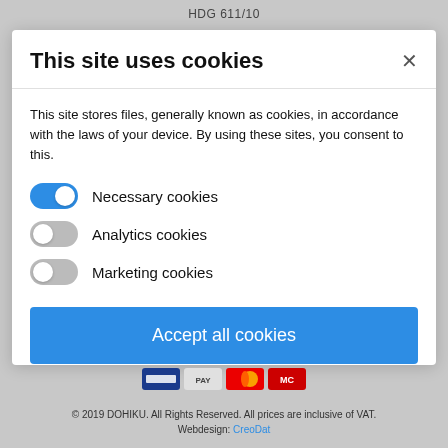HDG 611/10
This site uses cookies
This site stores files, generally known as cookies, in accordance with the laws of your device. By using these sites, you consent to this.
Necessary cookies (toggle on)
Analytics cookies (toggle off)
Marketing cookies (toggle off)
Accept all cookies
Allow only essential cookies
More information
© 2019 DOHIKU. All Rights Reserved. All prices are inclusive of VAT. Webdesign: CreoDat